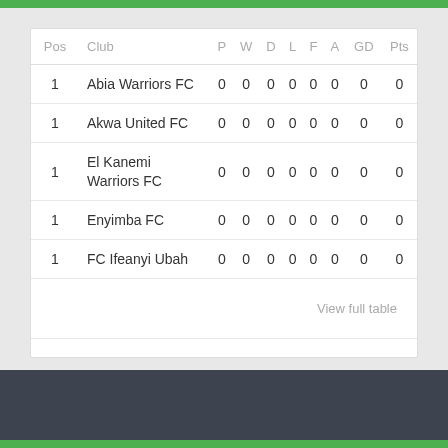| Pos | Club | P | W | D | L | F | A | GD | Pts |
| --- | --- | --- | --- | --- | --- | --- | --- | --- | --- |
| 1 | Abia Warriors FC | 0 | 0 | 0 | 0 | 0 | 0 | 0 | 0 |
| 1 | Akwa United FC | 0 | 0 | 0 | 0 | 0 | 0 | 0 | 0 |
| 1 | El Kanemi Warriors FC | 0 | 0 | 0 | 0 | 0 | 0 | 0 | 0 |
| 1 | Enyimba FC | 0 | 0 | 0 | 0 | 0 | 0 | 0 | 0 |
| 1 | FC Ifeanyi Ubah | 0 | 0 | 0 | 0 | 0 | 0 | 0 | 0 |